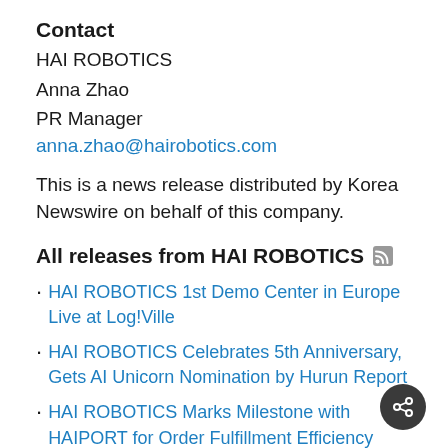Contact
HAI ROBOTICS
Anna Zhao
PR Manager
anna.zhao@hairobotics.com
This is a news release distributed by Korea Newswire on behalf of this company.
All releases from HAI ROBOTICS
HAI ROBOTICS 1st Demo Center in Europe Live at Log!Ville
HAI ROBOTICS Celebrates 5th Anniversary, Gets AI Unicorn Nomination by Hurun Report
HAI ROBOTICS Marks Milestone with HAIPORT for Order Fulfillment Efficiency
All news releases ›